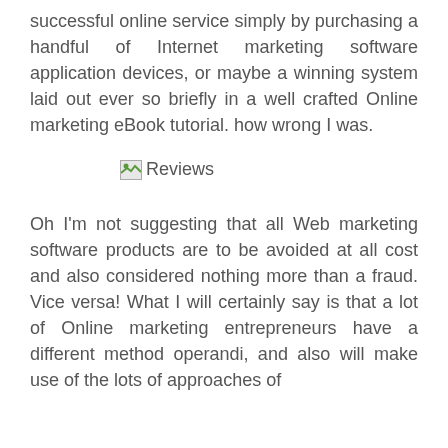successful online service simply by purchasing a handful of Internet marketing software application devices, or maybe a winning system laid out ever so briefly in a well crafted Online marketing eBook tutorial. how wrong I was.
[Figure (other): Broken image placeholder labeled 'Reviews']
Oh I'm not suggesting that all Web marketing software products are to be avoided at all cost and also considered nothing more than a fraud. Vice versa! What I will certainly say is that a lot of Online marketing entrepreneurs have a different method operandi, and also will make use of the lots of approaches of